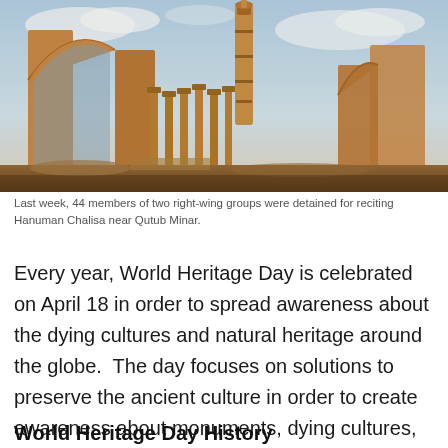[Figure (photo): Photograph of ancient stone ruins with arched gateway and carved columns, with the Qutub Minar tower visible in the background against a hazy sky.]
Last week, 44 members of two right-wing groups were detained for reciting Hanuman Chalisa near Qutub Minar.
Every year, World Heritage Day is celebrated on April 18 in order to spread awareness about the dying cultures and natural heritage around the globe.  The day focuses on solutions to preserve the ancient culture in order to create awareness about monuments, dying cultures, and sites.
World Heritage Day History